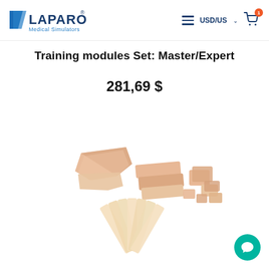LAPARO Medical Simulators — USD/US navigation header with cart
Training modules Set: Master/Expert
281,69 $
[Figure (photo): Assorted medical simulation training modules — silicone skin pads, tissue inserts, and suture practice pieces in peach/cream colors, arranged on a white background]